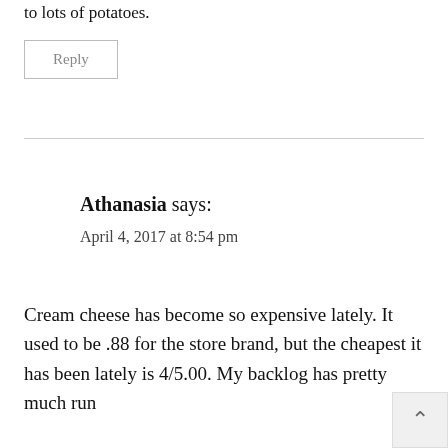to lots of potatoes.
Reply
Athanasia says:
April 4, 2017 at 8:54 pm
Cream cheese has become so expensive lately. It used to be .88 for the store brand, but the cheapest it has been lately is 4/5.00. My backlog has pretty much run